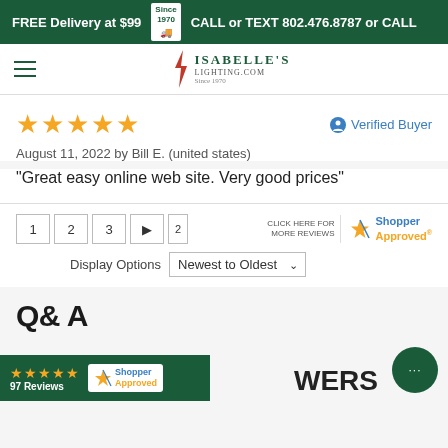FREE Delivery at $99  |  CALL or TEXT 802.476.8787 or CALL
[Figure (logo): Isabelle's Lightning logo with lightning bolt and brand name]
August 11, 2022 by Bill E. (united states)
“Great easy online web site. Very good prices”
Verified Buyer
Display Options  Newest to Oldest
Q& A
★★★★★  97 Reviews  Shopper Approved  WERS